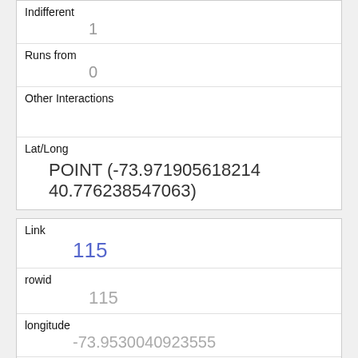| Indifferent | 1 |
| Runs from | 0 |
| Other Interactions |  |
| Lat/Long | POINT (-73.971905618214 40.776238547063) |
| Link | 115 |
| rowid | 115 |
| longitude | -73.9530040923555 |
| latitude | 40.7922896176936 |
| Unique Squirrel ID | 36I-PM-1007-10 |
| Hectare |  |